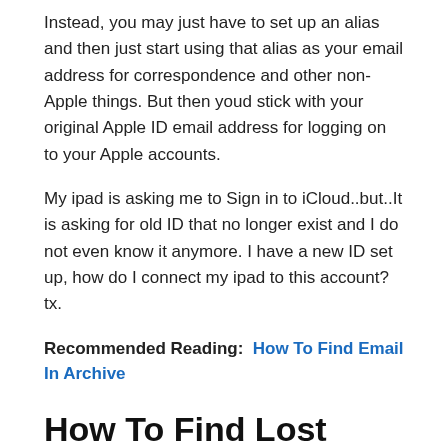Instead, you may just have to set up an alias and then just start using that alias as your email address for correspondence and other non-Apple things. But then youd stick with your original Apple ID email address for logging on to your Apple accounts.
My ipad is asking me to Sign in to iCloud..but..It is asking for old ID that no longer exist and I do not even know it anymore. I have a new ID set up, how do I connect my ipad to this account? tx.
Recommended Reading: How To Find Email In Archive
How To Find Lost Icloud Email Apple Id Or Password
If you happen to have lost your iCloud email ID and